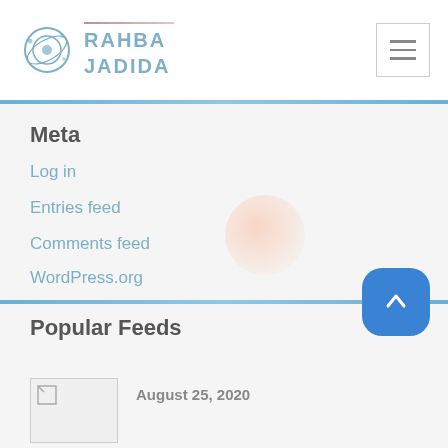RAHBA JADIDA
Meta
Log in
Entries feed
Comments feed
WordPress.org
Popular Feeds
August 25, 2020